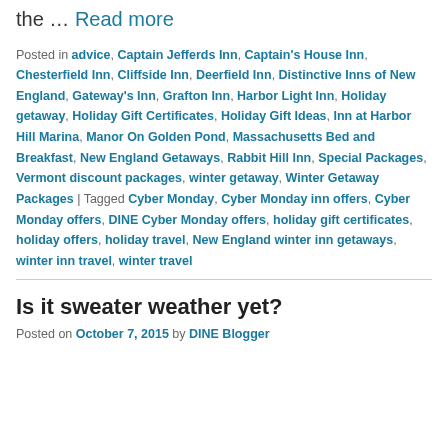the … Read more
Posted in advice, Captain Jefferds Inn, Captain's House Inn, Chesterfield Inn, Cliffside Inn, Deerfield Inn, Distinctive Inns of New England, Gateway's Inn, Grafton Inn, Harbor Light Inn, Holiday getaway, Holiday Gift Certificates, Holiday Gift Ideas, Inn at Harbor Hill Marina, Manor On Golden Pond, Massachusetts Bed and Breakfast, New England Getaways, Rabbit Hill Inn, Special Packages, Vermont discount packages, winter getaway, Winter Getaway Packages | Tagged Cyber Monday, Cyber Monday inn offers, Cyber Monday offers, DINE Cyber Monday offers, holiday gift certificates, holiday offers, holiday travel, New England winter inn getaways, winter inn travel, winter travel
Is it sweater weather yet?
Posted on October 7, 2015 by DINE Blogger